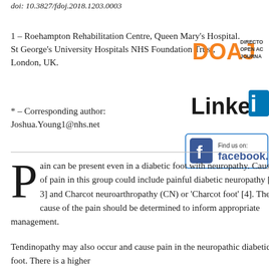doi: 10.3827/fdoj.2018.1203.0003
1 – Roehampton Rehabilitation Centre, Queen Mary's Hospital. St George's University Hospitals NHS Foundation Trust, London, UK.
* – Corresponding author: Joshua.Young1@nhs.net
[Figure (logo): DOAJ Directory of Open Access Journals logo]
[Figure (logo): LinkedIn logo]
[Figure (logo): Find us on Facebook logo]
Pain can be present even in a diabetic foot with neuropathy. Causes of pain in this group could include painful diabetic neuropathy [1–3] and Charcot neuroarthropathy (CN) or 'Charcot foot' [4]. The cause of the pain should be determined to inform appropriate management.
Tendinopathy may also occur and cause pain in the neuropathic diabetic foot. There is a higher